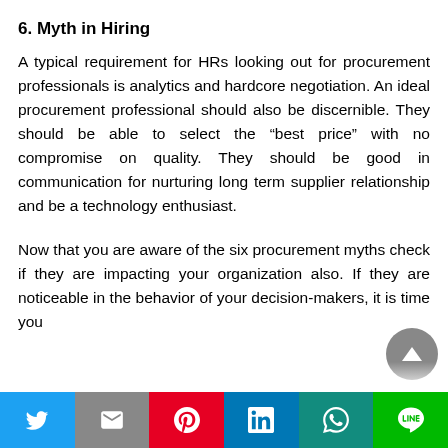6. Myth in Hiring
A typical requirement for HRs looking out for procurement professionals is analytics and hardcore negotiation. An ideal procurement professional should also be discernible. They should be able to select the “best price” with no compromise on quality. They should be good in communication for nurturing long term supplier relationship and be a technology enthusiast.
Now that you are aware of the six procurement myths check if they are impacting your organization also. If they are noticeable in the behavior of your decision-makers, it is time you